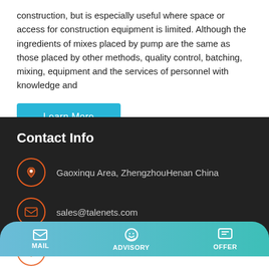construction, but is especially useful where space or access for construction equipment is limited. Although the ingredients of mixes placed by pump are the same as those placed by other methods, quality control, batching, mixing, equipment and the services of personnel with knowledge and
Learn More
Contact Info
Gaoxinqu Area, ZhengzhouHenan China
sales@talenets.com
MAIL | ADVISORY | OFFER